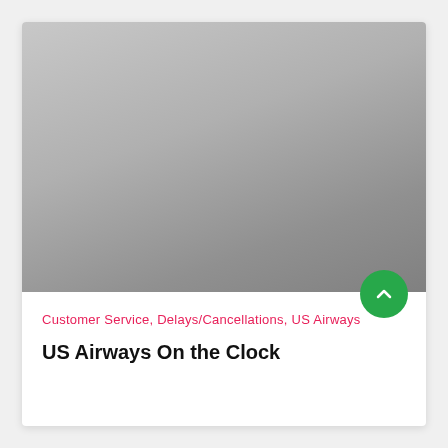[Figure (photo): Gray gradient placeholder image filling the top portion of the card]
Customer Service, Delays/Cancellations, US Airways
US Airways On the Clock